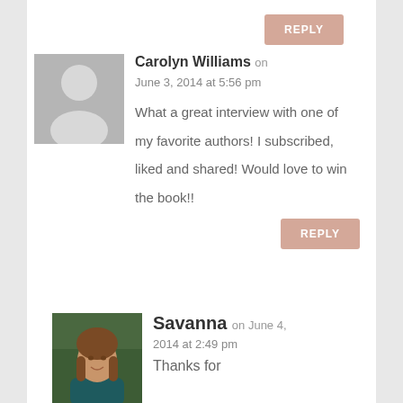REPLY
Carolyn Williams on June 3, 2014 at 5:56 pm
What a great interview with one of my favorite authors! I subscribed, liked and shared! Would love to win the book!!
REPLY
Savanna on June 4, 2014 at 2:49 pm
Thanks for